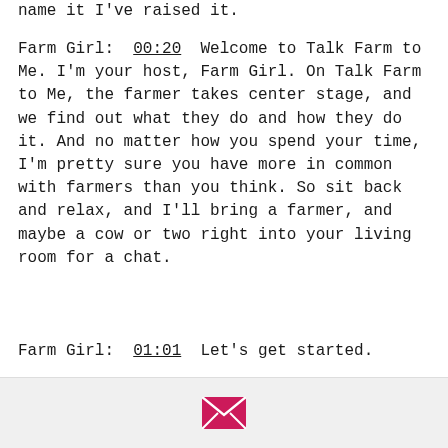name it I've raised it.
Farm Girl:  00:20  Welcome to Talk Farm to Me. I'm your host, Farm Girl. On Talk Farm to Me, the farmer takes center stage, and we find out what they do and how they do it. And no matter how you spend your time, I'm pretty sure you have more in common with farmers than you think. So sit back and relax, and I'll bring a farmer, and maybe a cow or two right into your living room for a chat.
Farm Girl:  01:01  Let's get started.
Farm Girl:  01:07  ...
[Figure (other): Bottom bar with pink/magenta email envelope icon on light gray background]